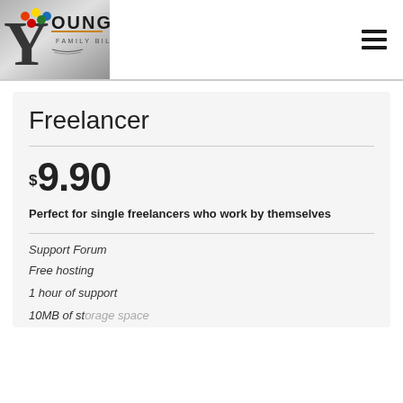[Figure (logo): Youngs Family Billiards logo with diamond-encrusted Y letter and billiard balls]
Freelancer
$9.90
Perfect for single freelancers who work by themselves
Support Forum
Free hosting
1 hour of support
10MB of storage space